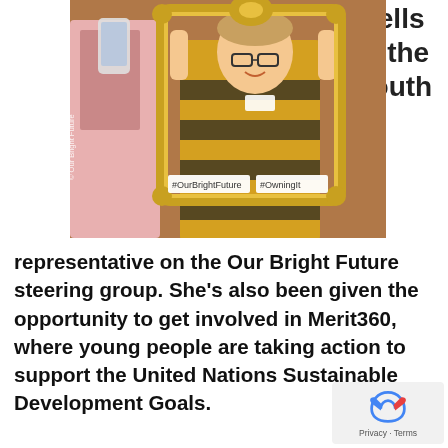wells is the youth
[Figure (photo): Young woman smiling and holding a decorative gold picture frame around herself at an event. Another person is taking a photo with a phone on the left. Signs in the frame read #OurBrightFuture and #OwningIt. Watermark reads © Our Bright Future.]
representative on the Our Bright Future steering group. She's also been given the opportunity to get involved in Merit360, where young people are taking action to support the United Nations Sustainable Development Goals.
[Figure (other): Privacy & Terms reCAPTCHA badge]